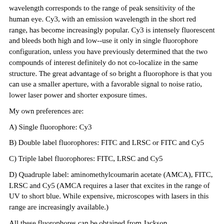wavelength corresponds to the range of peak sensitivity of the human eye. Cy3, with an emission wavelength in the short red range, has become increasingly popular. Cy3 is intensely fluorescent and bleeds both high and low--use it only in single fluorophore configuration, unless you have previously determined that the two compounds of interest definitely do not co-localize in the same structure. The great advantage of so bright a fluorophore is that you can use a smaller aperture, with a favorable signal to noise ratio, lower laser power and shorter exposure times.
My own preferences are:
A) Single fluorophore: Cy3
B) Double label fluorophores: FITC and LRSC or FITC and Cy5
C) Triple label fluorophores: FITC, LRSC and Cy5
D) Quadruple label: aminomethylcoumarin acetate (AMCA), FITC, LRSC and Cy5 (AMCA requires a laser that excites in the range of UV to short blue. While expensive, microscopes with lasers in this range are increasingly available.)
All these fluorophores can be obtained from Jackson Immunoresearch Laboratories, Incorporated (West Grove, PA).